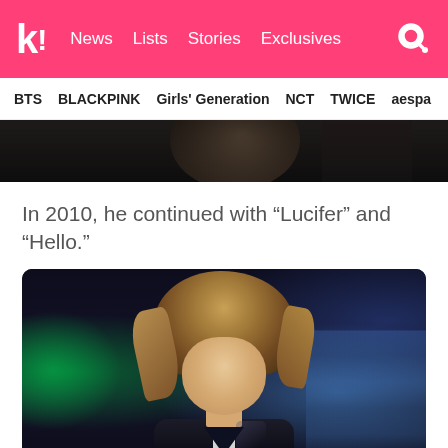k! News Lists Stories Exclusives
BTS BLACKPINK Girls' Generation NCT TWICE aespa
[Figure (photo): Partial photo showing a person's face and shoulder against a dark background, top portion of image cut off]
In 2010, he continued with “Lucifer” and “Hello.”
[Figure (photo): Photo of a K-pop performer with medium-length light brown hair, wearing a black shiny sleeveless vest over a white shirt, on a stage with green and blue lighting in the background. Watermark reads 2010.08]